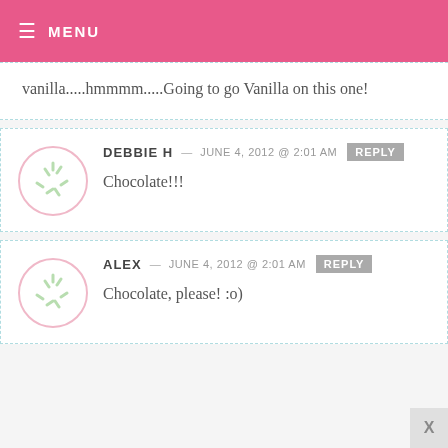MENU
vanilla.....hmmmm.....Going to go Vanilla on this one!
DEBBIE H — JUNE 4, 2012 @ 2:01 AM  REPLY
Chocolate!!!
ALEX — JUNE 4, 2012 @ 2:01 AM  REPLY
Chocolate, please! :o)